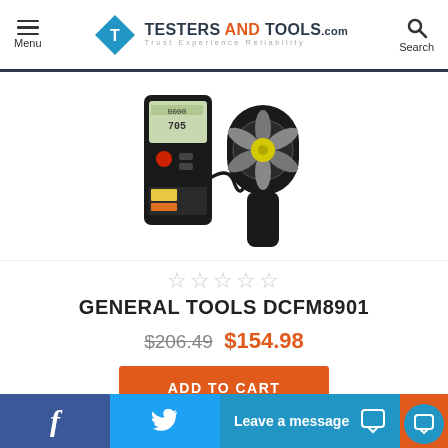Menu | TESTERS AND TOOLS.com Trust Experience Reliability | Search
[Figure (photo): Product photo of General Tools DCFM8901 anemometer with digital display unit and fan sensor attachment connected by coiled cable]
☆☆☆☆☆
GENERAL TOOLS DCFM8901
$206.49 $154.98
ADD TO CART
f | Twitter bird | Leave a message | chat icon